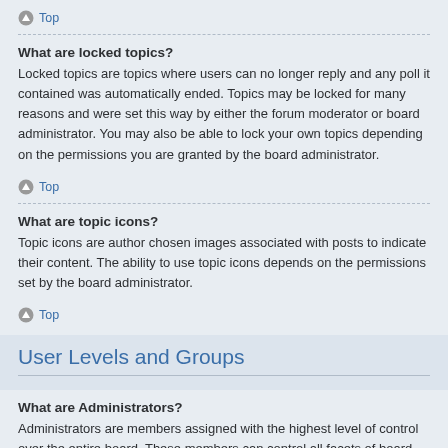Top
What are locked topics?
Locked topics are topics where users can no longer reply and any poll it contained was automatically ended. Topics may be locked for many reasons and were set this way by either the forum moderator or board administrator. You may also be able to lock your own topics depending on the permissions you are granted by the board administrator.
Top
What are topic icons?
Topic icons are author chosen images associated with posts to indicate their content. The ability to use topic icons depends on the permissions set by the board administrator.
Top
User Levels and Groups
What are Administrators?
Administrators are members assigned with the highest level of control over the entire board. These members can control all facets of board operation, including setting permissions, banning users, creating usergroups or moderators, etc., dependent upon the board founder and